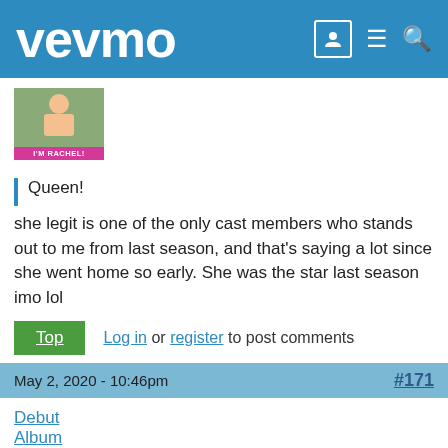vevmo
[Figure (photo): User avatar image showing a person with text label 'I'M RACHEL!' at the bottom]
Queen!
she legit is one of the only cast members who stands out to me from last season, and that's saying a lot since she went home so early. She was the star last season imo lol
Top  Log in or register to post comments
May 2, 2020 - 10:46pm  #171
Debut Album